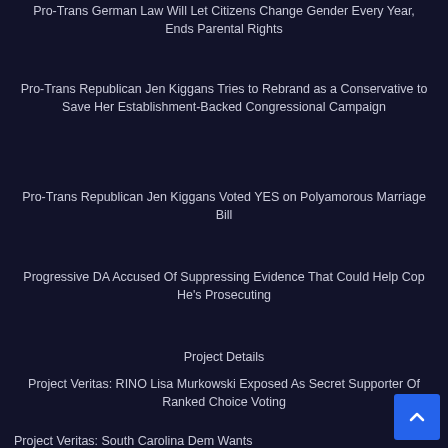Pro-Trans German Law Will Let Citizens Change Gender Every Year, Ends Parental Rights
Pro-Trans Republican Jen Kiggans Tries to Rebrand as a Conservative to Save Her Establishment-Backed Congressional Campaign
Pro-Trans Republican Jen Kiggans Voted YES on Polyamorous Marriage Bill
Progressive DA Accused Of Suppressing Evidence That Could Help Cop He's Prosecuting
Project Details
Project Veritas: RINO Lisa Murkowski Exposed As Secret Supporter Of Ranked Choice Voting
Project Veritas: South Carolina Dem Wants 'Sleeper Candidates' to Infiltrate Red Areas
Prominent Political Strategist Cliff Maloney is Vindicated After Cla…